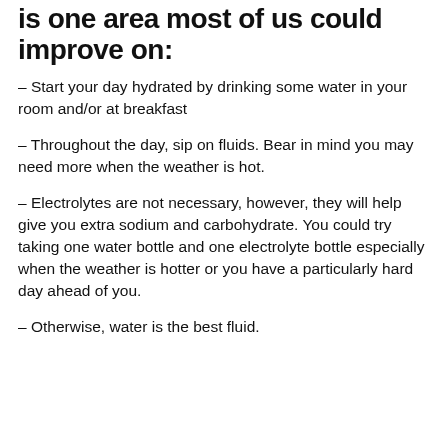is one area most of us could improve on:
– Start your day hydrated by drinking some water in your room and/or at breakfast
– Throughout the day, sip on fluids. Bear in mind you may need more when the weather is hot.
– Electrolytes are not necessary, however, they will help give you extra sodium and carbohydrate. You could try taking one water bottle and one electrolyte bottle especially when the weather is hotter or you have a particularly hard day ahead of you.
– Otherwise, water is the best fluid.